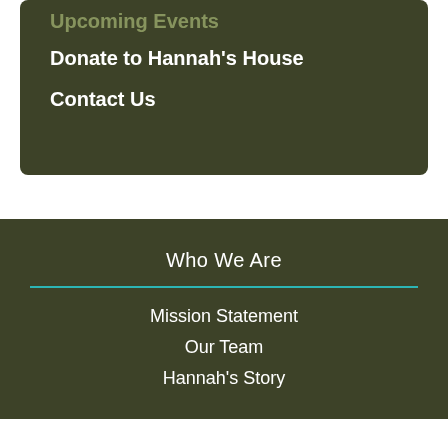Upcoming Events
Donate to Hannah's House
Contact Us
Who We Are
Mission Statement
Our Team
Hannah's Story